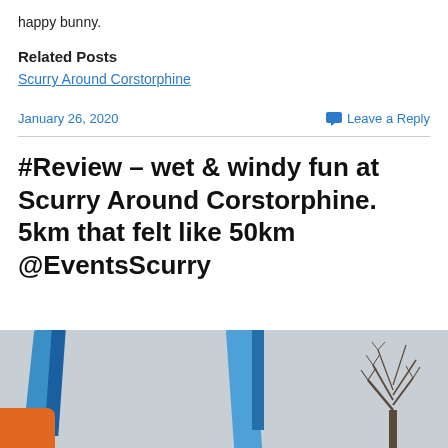happy bunny.
Related Posts
Scurry Around Corstorphine
January 26, 2020
Leave a Reply
#Review – wet & windy fun at Scurry Around Corstorphine. 5km that felt like 50km @EventsScurry
[Figure (photo): Outdoor race event photo showing blue promotional banners/flags and a bare winter tree against an overcast sky, with orange gear visible at bottom left.]